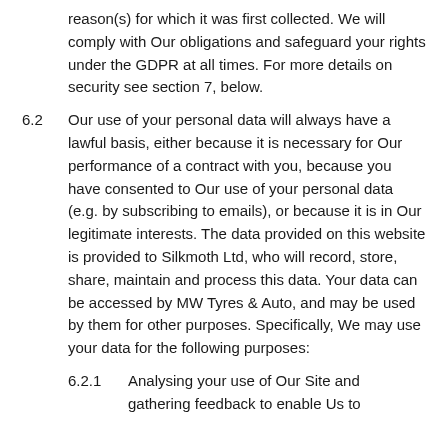reason(s) for which it was first collected. We will comply with Our obligations and safeguard your rights under the GDPR at all times. For more details on security see section 7, below.
6.2   Our use of your personal data will always have a lawful basis, either because it is necessary for Our performance of a contract with you, because you have consented to Our use of your personal data (e.g. by subscribing to emails), or because it is in Our legitimate interests. The data provided on this website is provided to Silkmoth Ltd, who will record, store, share, maintain and process this data. Your data can be accessed by MW Tyres & Auto, and may be used by them for other purposes. Specifically, We may use your data for the following purposes:
6.2.1   Analysing your use of Our Site and gathering feedback to enable Us to